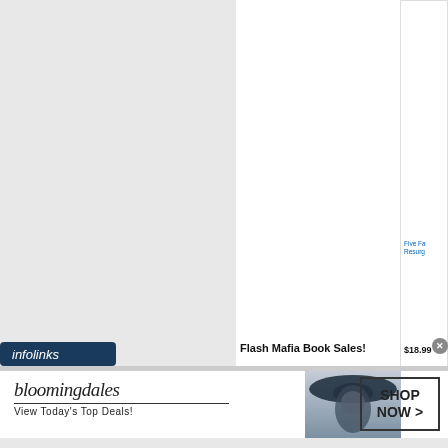Five Fa... Resurg...
$18.99
[Figure (other): Star rating: approximately 3 out of 5 stars in orange]
Felon
Denver wedding ph...
[Figure (other): Infolinks badge - dark navy rounded tab with white italic text 'infolinks']
Flash Mafia Book Sales!
[Figure (other): Bloomingdales advertisement banner: logo text 'bloomingdales', tagline 'View Today's Top Deals!', woman in navy hat, SHOP NOW button]